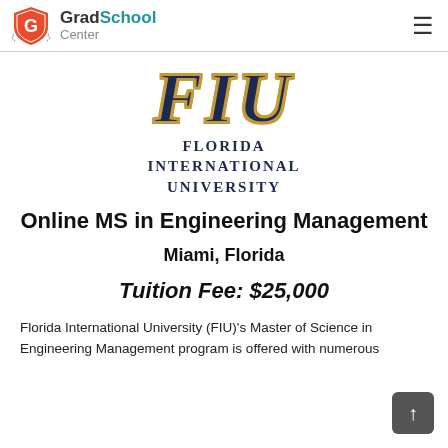GradSchool Center
[Figure (logo): Florida International University (FIU) logo with dark navy 'FIU' lettering outlined in gold, and text 'FLORIDA INTERNATIONAL UNIVERSITY' below in navy serif font]
Online MS in Engineering Management
Miami, Florida
Tuition Fee: $25,000
Florida International University (FIU)'s Master of Science in Engineering Management program is offered with numerous